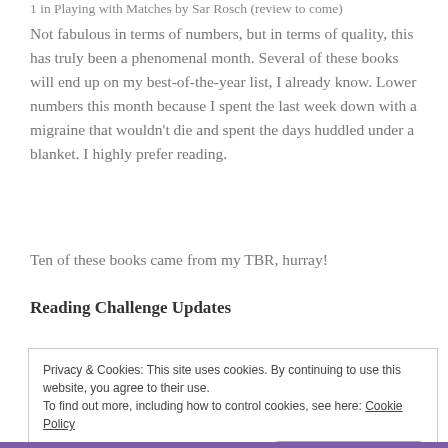1 in Playing with Matches by Sar Rosch (review to come)
Not fabulous in terms of numbers, but in terms of quality, this has truly been a phenomenal month. Several of these books will end up on my best-of-the-year list, I already know. Lower numbers this month because I spent the last week down with a migraine that wouldn’t die and spent the days huddled under a blanket. I highly prefer reading.
Ten of these books came from my TBR, hurray!
Reading Challenge Updates
Privacy & Cookies: This site uses cookies. By continuing to use this website, you agree to their use.
To find out more, including how to control cookies, see here: Cookie Policy
Close and accept